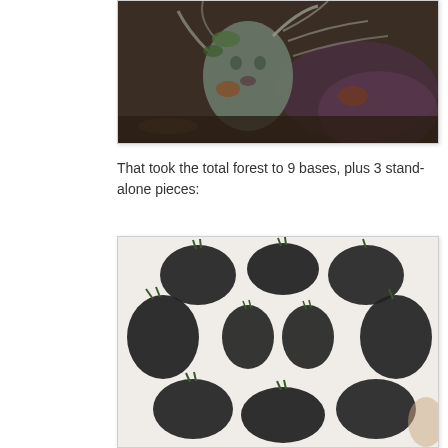[Figure (photo): Close-up photo of a fantasy miniature figure with a demonic/nature face, surrounded by twisted roots, moss, and organic terrain elements in dark earthy and purple tones.]
That took the total forest to 9 bases, plus 3 stand-alone pieces:
[Figure (photo): Photo of multiple dark fantasy miniature terrain bases laid out on a white surface, arranged in a circular pattern including irregular shaped bases and round bases with small plant/grass tufts.]